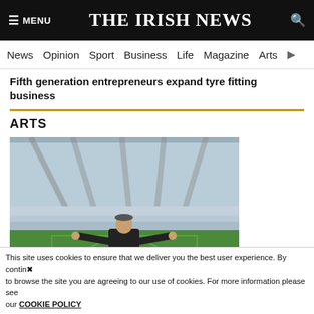≡ MENU   THE IRISH NEWS   🔍
News  Opinion  Sport  Business  Life  Magazine  Arts
Fifth generation entrepreneurs expand tyre fitting business
ARTS
[Figure (photo): A man standing on a sports stadium pitch with arms outstretched, wearing a black jacket and jeans, with empty stadium seating in the background]
Brooks five-d... extravaganza'
This site uses cookies to ensure that we deliver you the best user experience. By continuing to browse the site you are agreeing to our use of cookies. For more information please see our COOKIE POLICY